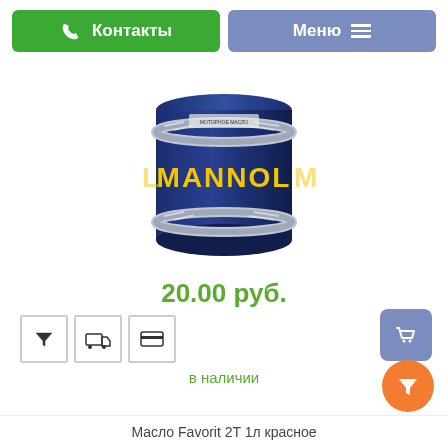[Figure (screenshot): Green Контакты button with phone icon and blue-purple Меню button with hamburger icon]
[Figure (photo): MANNOL oil drum/barrel product image, dark blue barrel with yellow MANNOL logo]
20.00 руб.
[Figure (infographic): Row of three icon boxes: filter icon, truck/delivery icon, credit card icon; blue cart button on right]
в наличии
Масло Favorit 2T 1л красное
[Figure (infographic): Orange circular filter/funnel button at bottom right]